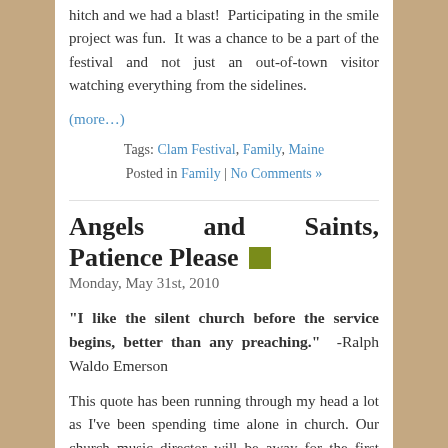hitch and we had a blast!  Participating in the smile project was fun.  It was a chance to be a part of the festival and not just an out-of-town visitor watching everything from the sidelines.
(more…)
Tags: Clam Festival, Family, Maine
Posted in Family | No Comments »
Angels and Saints, Patience Please
Monday, May 31st, 2010
“I like the silent church before the service begins, better than any preaching.”  -Ralph Waldo Emerson
This quote has been running through my head a lot as I’ve been spending time alone in church. Our church music director will be away for the first three Sundays in June and asked if I would